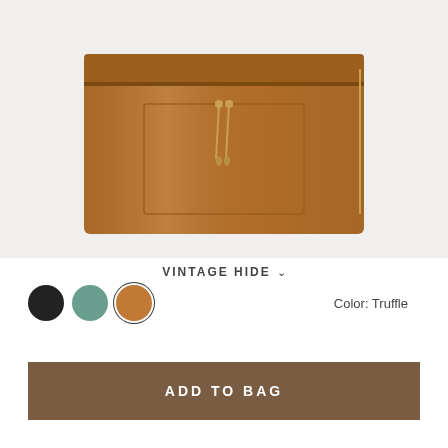[Figure (photo): A tan/truffle colored leather bag with gold zipper hardware and zipper pull detail, photographed against a light gray background. The bag appears to be a flat-style leather bag or clutch viewed from the front.]
VINTAGE HIDE ∨
Color: Truffle
ADD TO BAG